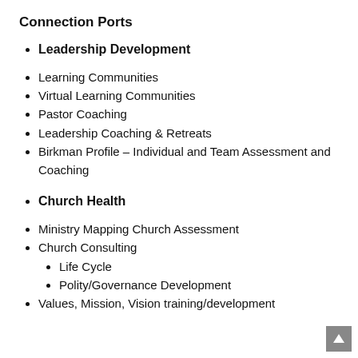Connection Ports
Leadership Development
Learning Communities
Virtual Learning Communities
Pastor Coaching
Leadership Coaching & Retreats
Birkman Profile – Individual and Team Assessment and Coaching
Church Health
Ministry Mapping Church Assessment
Church Consulting
Life Cycle
Polity/Governance Development
Values, Mission, Vision training/development